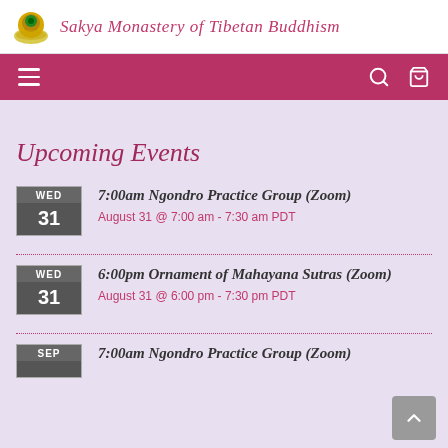Sakya Monastery of Tibetan Buddhism
Upcoming Events
7:00am Ngondro Practice Group (Zoom)
August 31 @ 7:00 am - 7:30 am PDT
6:00pm Ornament of Mahayana Sutras (Zoom)
August 31 @ 6:00 pm - 7:30 pm PDT
7:00am Ngondro Practice Group (Zoom)